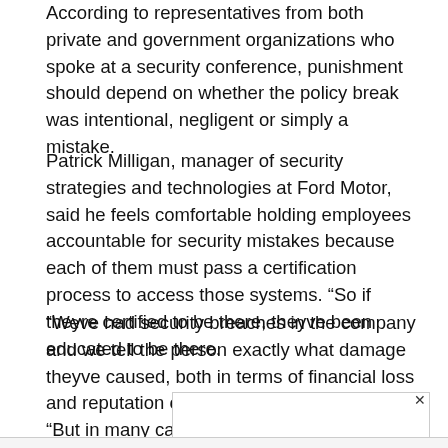According to representatives from both private and government organizations who spoke at a security conference, punishment should depend on whether the policy break was intentional, negligent or simply a mistake.
Patrick Milligan, manager of security strategies and technologies at Ford Motor, said he feels comfortable holding employees accountable for security mistakes because each of them must pass a certification process to access those systems. “So if theyre certified to be there, theyve been educated to be there.
“Weve had security breaches in the company and we tell the person exactly what damage theyve caused, both in terms of financial loss and reputation of the company,” Milligan said. “But in many cases people are absolutely getting let go.”